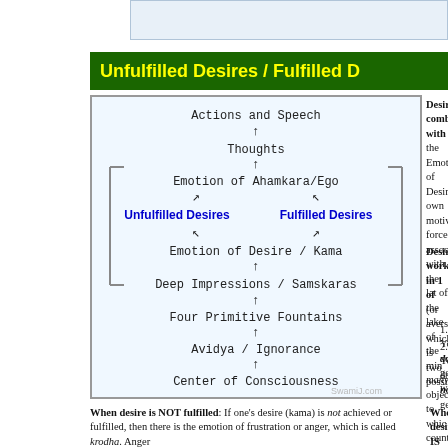[Figure (flowchart): Flowchart showing hierarchy from Center of Consciousness up through Avidya/Ignorance, Four Primitive Fountains, Deep Impressions/Samskaras, Emotion of Desire/Kama, branching to Unfulfilled Desires and Fulfilled Desires, then up to Emotion of Ahamkara/Ego, Thoughts, Actions and Speech. Unfulfilled Desires and Fulfilled Desires are highlighted in blue/bold.]
Unfulfilled Desires / Fulfilled Desires
Desire combines with the Emotion of Desire, having its own motivating force. Associates with the lake of the mind, many objects to which countless possibilities remains only one color.
Desire works in 1 of (or aversion, which is two possibilities:
You do get what
You do not ge
When desire is NOT fulfilled: If one's desire (kama) is not achieved or fulfilled, then there is the emotion of frustration or anger, which is called krodha. Anger
When desire IS achieved or fulfi or muda, having